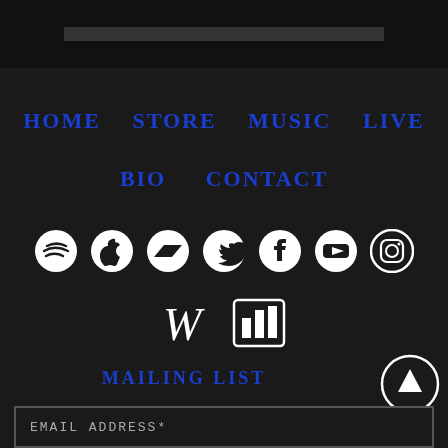HOME  STORE  MUSIC  LIVE
BIO  CONTACT
[Figure (infographic): Row of social media icons: Spotify, Apple, Bandcamp, Twitter, Facebook, YouTube, Instagram]
[Figure (infographic): Row of icons: Wikipedia, Songkick/Bandsintown concert tracker]
MAILING LIST
EMAIL ADDRESS*